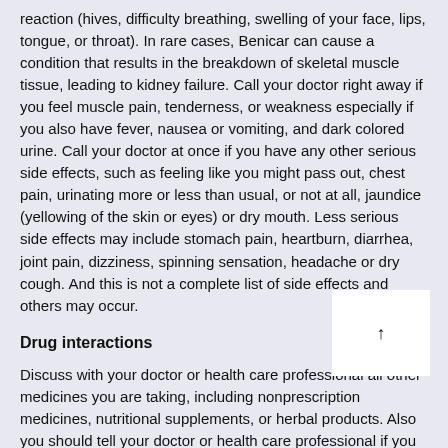reaction (hives, difficulty breathing, swelling of your face, lips, tongue, or throat). In rare cases, Benicar can cause a condition that results in the breakdown of skeletal muscle tissue, leading to kidney failure. Call your doctor right away if you feel muscle pain, tenderness, or weakness especially if you also have fever, nausea or vomiting, and dark colored urine. Call your doctor at once if you have any other serious side effects, such as feeling like you might pass out, chest pain, urinating more or less than usual, or not at all, jaundice (yellowing of the skin or eyes) or dry mouth. Less serious side effects may include stomach pain, heartburn, diarrhea, joint pain, dizziness, spinning sensation, headache or dry cough. And this is not a complete list of side effects and others may occur.
Drug interactions
Discuss with your doctor or health care professional all other medicines you are taking, including nonprescription medicines, nutritional supplements, or herbal products. Also you should tell your doctor or health care professional if you are a frequent user of drinks with caffeine or alcohol, if you smoke, or if you use illegal drugs. This things may affect the way your medicine works. Check with your doctor or health care professional before stopping or starting any of your medicines.
Missed dose
Take the missed dose as soon as you remember. If it is almost time for your